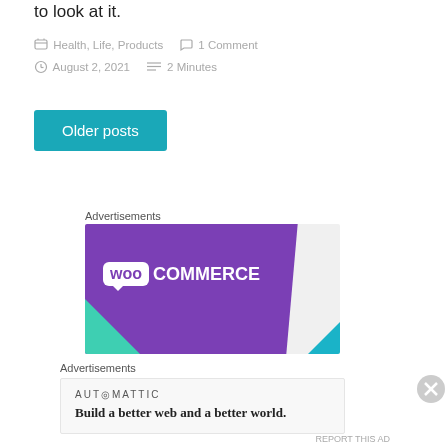to look at it.
Health, Life, Products   1 Comment
August 2, 2021   2 Minutes
Older posts
Advertisements
[Figure (logo): WooCommerce advertisement banner with purple background and teal/blue accents]
Advertisements
AUTOMATTIC
Build a better web and a better world.
REPORT THIS AD